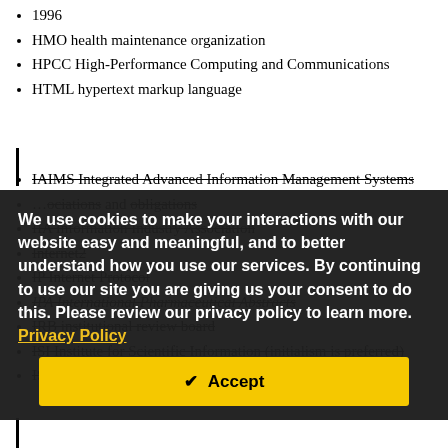1996
HMO health maintenance organization
HPCC High-Performance Computing and Communications
HTML hypertext markup language
IAIMS Integrated Advanced Information Management Systems (strikethrough)
...associations and obligations (partially visible)
IIA Information Industry Association
Internet2 (strikethrough)
IP Internet Protocol
IPA International Pharmaceutical Abstracts (italic)
IRB institutional review board
ISI Institute for Scientific Information (initialism is preferred)
ISP internet service provider (strikethrough)
We use cookies to make your interactions with our website easy and meaningful, and to better understand how you use our services. By continuing to use our site you are giving us your consent to do this. Please review our privacy policy to learn more. Privacy Policy
Accept